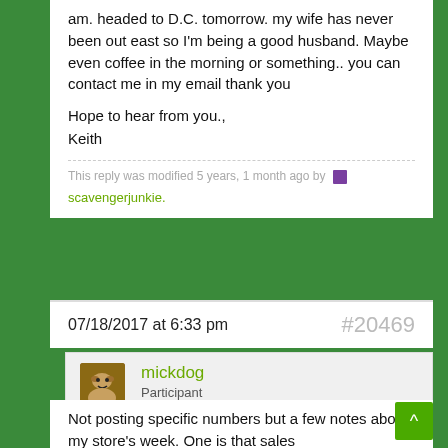am. headed to D.C. tomorrow. my wife has never been out east so I'm being a good husband. Maybe even coffee in the morning or something.. you can contact me in my email thank you

Hope to hear from you.,
Keith
This reply was modified 5 years, 1 month ago by scavengerjunkie.
07/18/2017 at 6:33 pm   #20469
mickdog
Participant
Location: Portland, OR
@mickdog
Not posting specific numbers but a few notes about my store's week. One is that sales